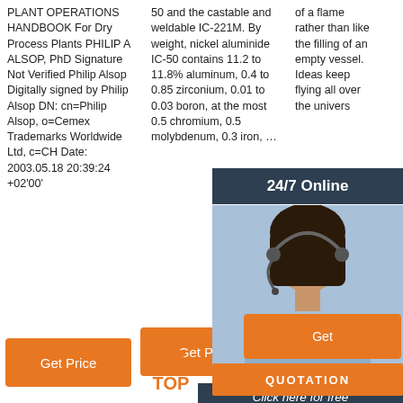PLANT OPERATIONS HANDBOOK For Dry Process Plants PHILIP A ALSOP, PhD Signature Not Verified Philip Alsop Digitally signed by Philip Alsop DN: cn=Philip Alsop, o=Cemex Trademarks Worldwide Ltd, c=CH Date: 2003.05.18 20:39:24 +02'00'
50 and the castable and weldable IC-221M. By weight, nickel aluminide IC-50 contains 11.2 to 11.8% aluminum, 0.4 to 0.85 zirconium, 0.01 to 0.03 boron, at the most 0.5 chromium, 0.5 molybdenum, 0.3 iron, …
of a flame rather than like the filling of an empty vessel. Ideas keep flying all over the univers... my min... aimles... he got a book with th... metals minera...
[Figure (photo): Customer service representative woman with headset, smiling, with dark overlay panel showing 24/7 Online text and Click here for free chat! text, orange QUOTATION button, and orange Get Price buttons. TOP logo at bottom right.]